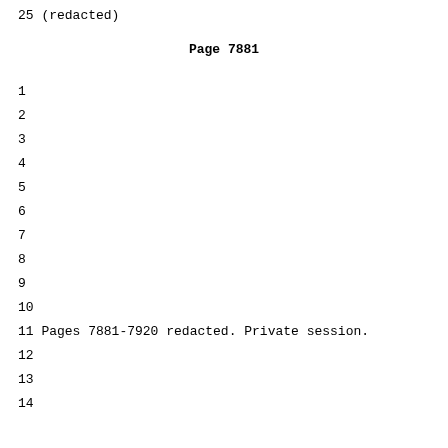25 (redacted)
Page 7881
1
2
3
4
5
6
7
8
9
10
11 Pages 7881-7920 redacted. Private session.
12
13
14